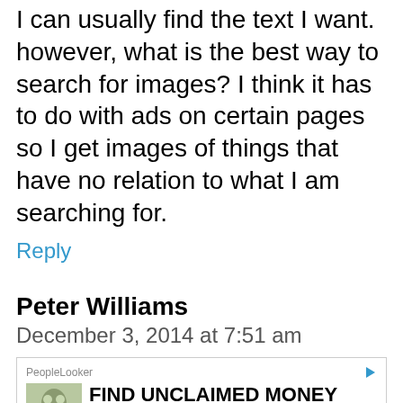I can usually find the text I want. however, what is the best way to search for images? I think it has to do with ads on certain pages so I get images of things that have no relation to what I am searching for.
Reply
Peter Williams
December 3, 2014 at 7:51 am
[Figure (screenshot): Advertisement from PeopleLooker: FIND UNCLAIMED MONEY with First Name and Last Name input fields and a Search button]